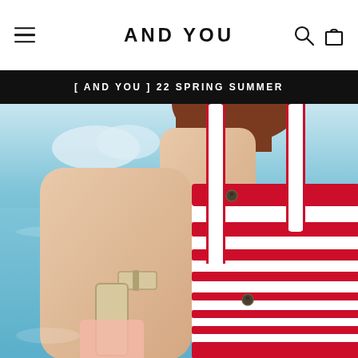AND YOU — navigation header with hamburger menu, search icon, and bag icon
AND YOU
[ AND YOU ] 22 SPRING SUMMER
[Figure (photo): Close-up photo of a woman's back wearing a red and white striped swimsuit with adjustable straps and metal snap buttons, photographed at the beach with blue ocean water in the background.]